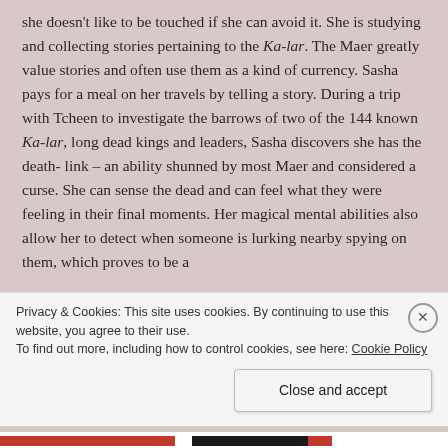she doesn't like to be touched if she can avoid it. She is studying and collecting stories pertaining to the Ka-lar. The Maer greatly value stories and often use them as a kind of currency. Sasha pays for a meal on her travels by telling a story. During a trip with Tcheen to investigate the barrows of two of the 144 known Ka-lar, long dead kings and leaders, Sasha discovers she has the death-link – an ability shunned by most Maer and considered a curse. She can sense the dead and can feel what they were feeling in their final moments. Her magical mental abilities also allow her to detect when someone is lurking nearby spying on them, which proves to be a
Privacy & Cookies: This site uses cookies. By continuing to use this website, you agree to their use.
To find out more, including how to control cookies, see here: Cookie Policy
Close and accept